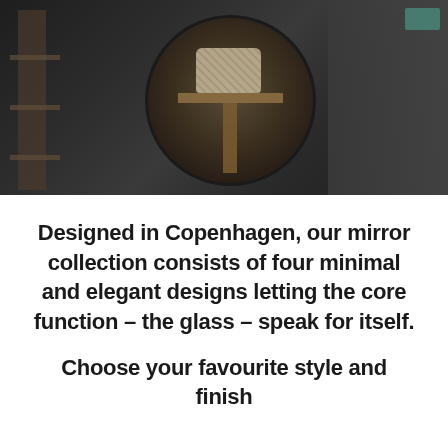[Figure (photo): Dark interior room photograph showing a circular mirror mounted on a wall, with a wooden shelf unit holding a woven basket visible in the mirror reflection. Left side shows a shelving unit, right side shows panel doors. Overall dark, moody ambiance.]
Designed in Copenhagen, our mirror collection consists of four minimal and elegant designs letting the core function – the glass – speak for itself.
Choose your favourite style and finish